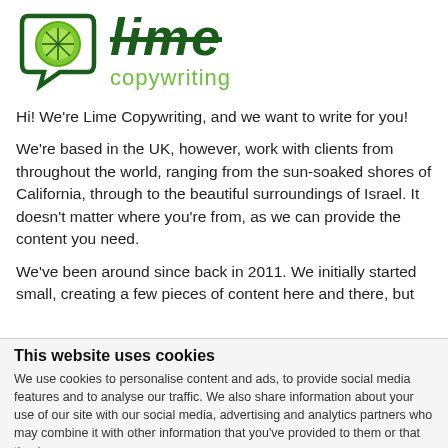[Figure (logo): Lime Copywriting logo: a lime/lemon slice icon inside a speech bubble outline, followed by the text 'lime' in dark green italic strikethrough font and 'copywriting' in light green below]
Hi! We're Lime Copywriting, and we want to write for you!
We're based in the UK, however, work with clients from throughout the world, ranging from the sun-soaked shores of California, through to the beautiful surroundings of Israel. It doesn't matter where you're from, as we can provide the content you need.
We've been around since back in 2011. We initially started small, creating a few pieces of content here and there, but
This website uses cookies
We use cookies to personalise content and ads, to provide social media features and to analyse our traffic. We also share information about your use of our site with our social media, advertising and analytics partners who may combine it with other information that you've provided to them or that they've